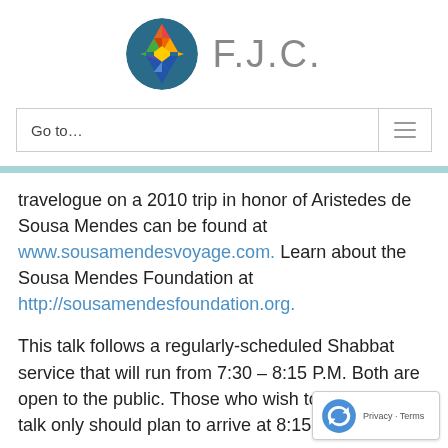[Figure (logo): F.J.C. logo with colorful Star of David mosaic circle and grey F.J.C. text]
Go to...
travelogue on a 2010 trip in honor of Aristedes de Sousa Mendes can be found at www.sousamendesvoyage.com. Learn about the Sousa Mendes Foundation at http://sousamendesfoundation.org.
This talk follows a regularly-scheduled Shabbat service that will run from 7:30 – 8:15 P.M. Both are open to the public. Those who wish to attend the talk only should plan to arrive at 8:15 P.M.